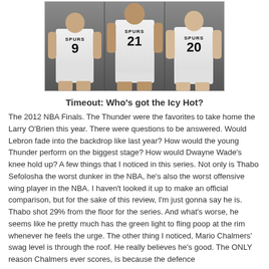[Figure (photo): Three San Antonio Spurs basketball players in white uniforms. Left player wears #9, center player wears #21, right player wears #20. Text 'SPURS' visible on jerseys.]
Timeout: Who's got the Icy Hot?
The 2012 NBA Finals. The Thunder were the favorites to take home the Larry O'Brien this year. There were questions to be answered. Would Lebron fade into the backdrop like last year? How would the young Thunder perform on the biggest stage? How would Dwayne Wade's knee hold up? A few things that I noticed in this series. Not only is Thabo Sefolosha the worst dunker in the NBA, he's also the worst offensive wing player in the NBA. I haven't looked it up to make an official comparison, but for the sake of this review, I'm just gonna say he is. Thabo shot 29% from the floor for the series. And what's worse, he seems like he pretty much has the green light to fling poop at the rim whenever he feels the urge. The other thing I noticed, Mario Chalmers' swag level is through the roof. He really believes he's good. The ONLY reason Chalmers ever scores, is because the defence